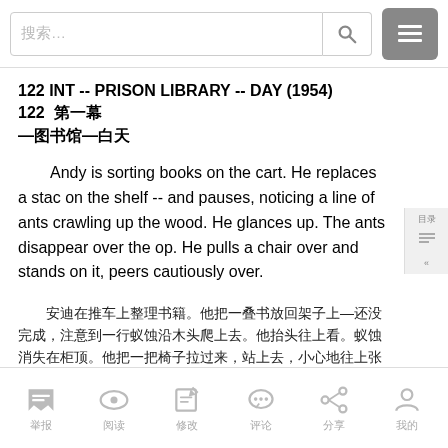Search bar with input field and menu button
122 INT -- PRISON LIBRARY -- DAY (1954) 122 第一幕—图书馆—白天
Andy is sorting books on the cart. He replaces a stac on the shelf -- and pauses, noticing a line of ants crawling up the wood. He glances up. The ants disappear over the op. He pulls a chair over and stands on it, peers cautiously over.
安迪在推车上整理书籍。他把一叠书放回架子上—还没完成，注意到一行蚁蚀沿木头爬上去。他抬头往上看。蚁蚀消失在柜顶。他把一把椅子拉过来，站上去，小心地往上张望。
ANDY安迪
举报  阅读  修改  评论  分享  我的